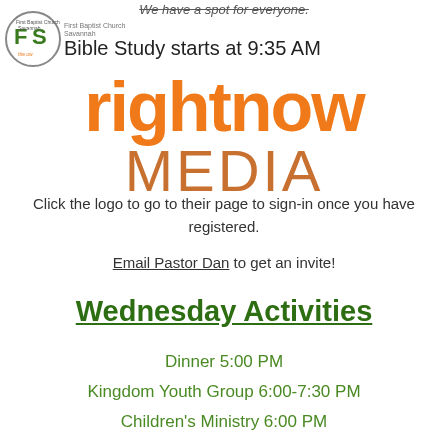We have a spot for everyone.
[Figure (logo): First Baptist Church Savannah circular logo with FS initials]
Bible Study starts at 9:35 AM
[Figure (logo): rightnow MEDIA logo - rightnow in orange bold, MEDIA in tan uppercase]
Click the logo to go to their page to sign-in once you have registered.
Email Pastor Dan to get an invite!
Wednesday Activities
Dinner 5:00 PM
Kingdom Youth Group 6:00-7:30 PM
Children's Ministry 6:00 PM